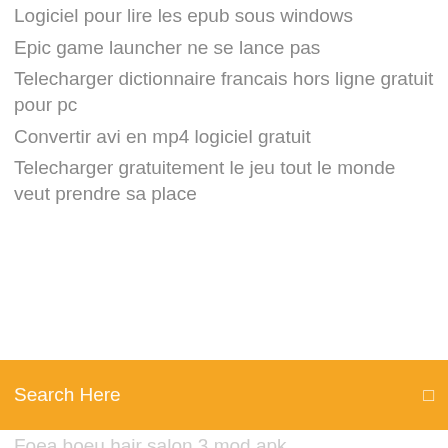Logiciel pour lire les epub sous windows
Epic game launcher ne se lance pas
Telecharger dictionnaire francais hors ligne gratuit pour pc
Convertir avi en mp4 logiciel gratuit
Telecharger gratuitement le jeu tout le monde veut prendre sa place
[Figure (screenshot): Orange/yellow search bar with 'Search Here' placeholder text and a search icon on the right]
Foea boeu hair salon 3 mod apk
Comment avoir plein dargent sur ets2
Télécharger musical.ly without app store
Assassins creed unity co op offline pc
Installer farming simulator 17 sans cd
Video to jpg converter linux
Telecharger logiciel photo gratuit gimp
Logiciel bootable pour reparer windows 7
American truck simulator 2 apk
Icônes gratuites pour windows 7
Any video converter télécharger youtube